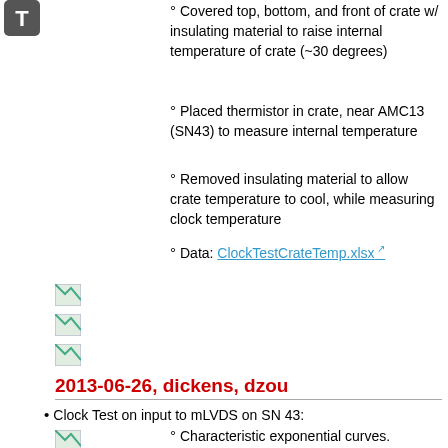[Figure (other): Small 'T' icon in top left corner]
Covered top, bottom, and front of crate w/ insulating material to raise internal temperature of crate (~30 degrees)
Placed thermistor in crate, near AMC13 (SN43) to measure internal temperature
Removed insulating material to allow crate temperature to cool, while measuring clock temperature
Data: ClockTestCrateTemp.xlsx
[Figure (other): Small broken image placeholder 1]
[Figure (other): Small broken image placeholder 2]
[Figure (other): Small broken image placeholder 3]
2013-06-26, dickens, dzou
Clock Test on input to mLVDS on SN 43:
Characteristic exponential curves. Maximum shift ~170 ps. Compared to maximum shift of ~100 ps on SN 33 board.
[Figure (other): Small broken image placeholder 4]